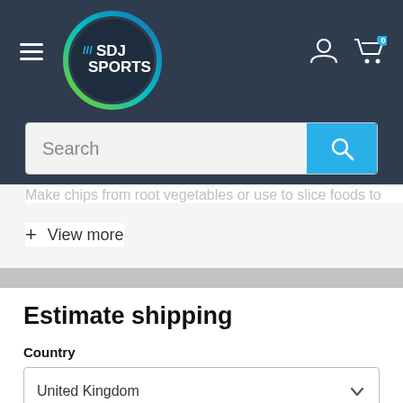[Figure (logo): SDJ Sports logo — circular badge with green-to-teal gradient ring, dark navy background, white text '/// SDJ SPORTS']
Search
Make chips from root vegetables or use to slice foods to
+ View more
Estimate shipping
Country
United Kingdom
Province